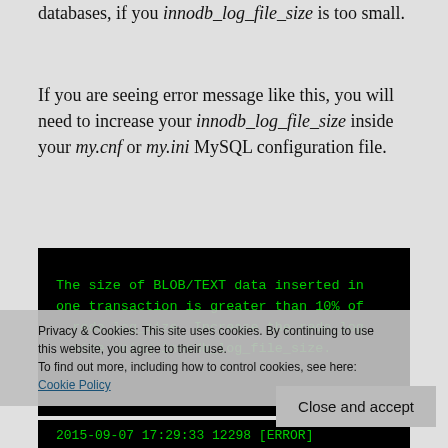databases, if you innodb_log_file_size is too small.
If you are seeing error message like this, you will need to increase your innodb_log_file_size inside your my.cnf or my.ini MySQL configuration file.
[Figure (screenshot): Black terminal window showing green monospace text: 'The size of BLOB/TEXT data inserted in one transaction is greater than 10% of redo_log_size. Increase the redo_log_size using innodb_log_file_size.']
Privacy & Cookies: This site uses cookies. By continuing to use this website, you agree to their use.
To find out more, including how to control cookies, see here: Cookie Policy
[Figure (screenshot): Black terminal window showing green monospace text: '2015-09-07 17:29:33 12298 [ERROR]']